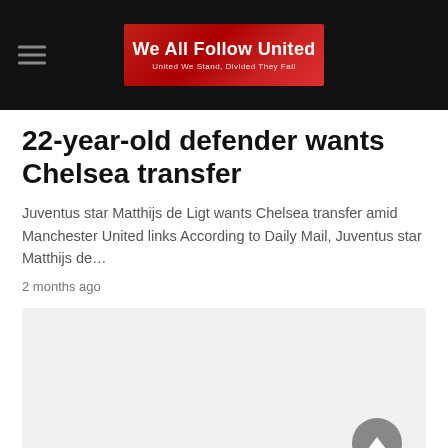We All Follow United — United We Stand, Divided They Fall
22-year-old defender wants Chelsea transfer
Juventus star Matthijs de Ligt wants Chelsea transfer amid Manchester United links According to Daily Mail, Juventus star Matthijs de…
2 months ago
[Figure (other): Advertisement placeholder (gray box)]